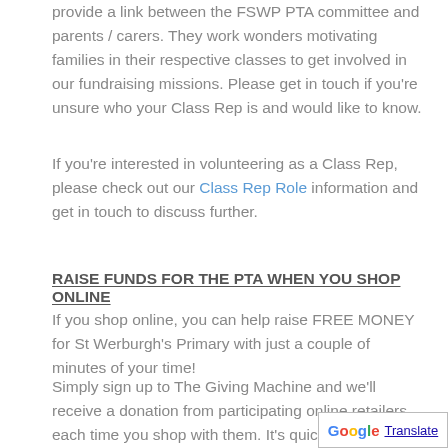provide a link between the FSWP PTA committee and parents / carers. They work wonders motivating families in their respective classes to get involved in our fundraising missions. Please get in touch if you're unsure who your Class Rep is and would like to know.
If you're interested in volunteering as a Class Rep, please check out our Class Rep Role information and get in touch to discuss further.
RAISE FUNDS FOR THE PTA WHEN YOU SHOP ONLINE
If you shop online, you can help raise FREE MONEY for St Werburgh's Primary with just a couple of minutes of your time!
Simply sign up to The Giving Machine and we'll receive a donation from participating online retailers each time you shop with them. It's quick and simple to sign up and all proceeds will help fund those enriching extras our children enjoy (trips, books, playground equipm